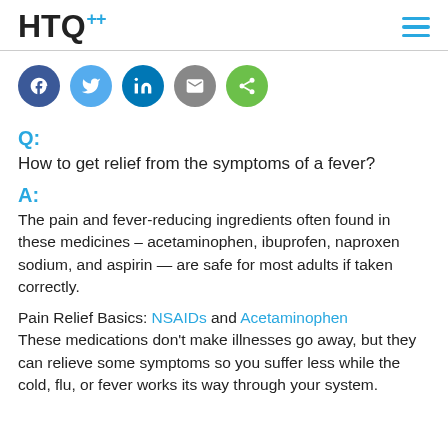HTQ+ [logo] [hamburger menu]
[Figure (other): Social sharing buttons: Facebook, Twitter, LinkedIn, Email, Share]
Q:
How to get relief from the symptoms of a fever?
A:
The pain and fever-reducing ingredients often found in these medicines – acetaminophen, ibuprofen, naproxen sodium, and aspirin — are safe for most adults if taken correctly.
Pain Relief Basics: NSAIDs and Acetaminophen
These medications don't make illnesses go away, but they can relieve some symptoms so you suffer less while the cold, flu, or fever works its way through your system.